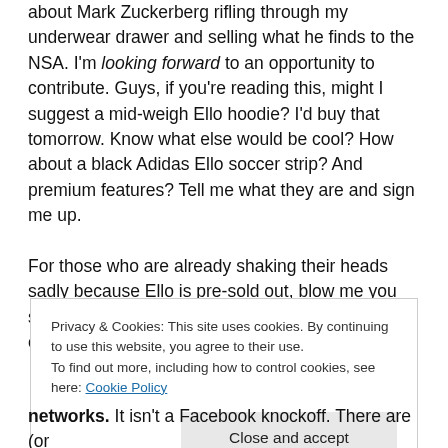about Mark Zuckerberg rifling through my underwear drawer and selling what he finds to the NSA. I'm looking forward to an opportunity to contribute. Guys, if you're reading this, might I suggest a mid-weigh Ello hoodie? I'd buy that tomorrow. Know what else would be cool? How about a black Adidas Ello soccer strip? And premium features? Tell me what they are and sign me up.

For those who are already shaking their heads sadly because Ello is pre-sold out, blow me you self-obsessed hipster asswaffles. If Ello changes course,
Privacy & Cookies: This site uses cookies. By continuing to use this website, you agree to their use.
To find out more, including how to control cookies, see here: Cookie Policy
Close and accept
networks. It isn't a Facebook knockoff. There are (or